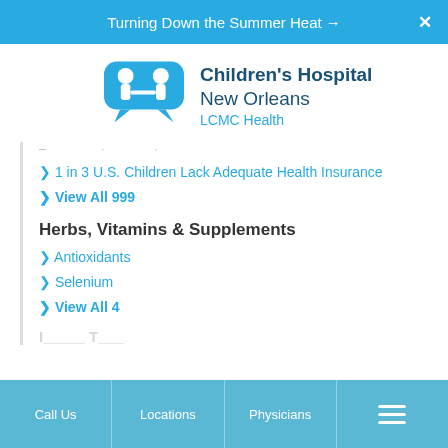Turning Down the Summer Heat →  ✕
[Figure (logo): Children's Hospital New Orleans LCMC Health logo with two children figures in teal]
1 in 3 U.S. Children Lack Adequate Health Insurance
View All 999
Herbs, Vitamins & Supplements
Antioxidants
Selenium
View All 4
Call Us    Locations    Physicians    ☰